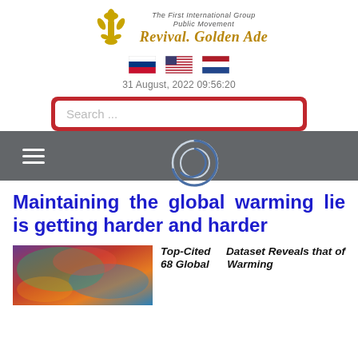The First International Group Public Movement
Revival. Golden Ade
[Figure (other): Flag icons: Russian flag, US flag, Netherlands flag]
31 August, 2022 09:56:20
Search ...
[Figure (other): Navigation bar with hamburger menu icon and loading spinner]
Maintaining the global warming lie is getting harder and harder
[Figure (photo): Colorful smoke or atmospheric image used as article thumbnail]
Top-Cited Dataset Reveals that of 68 Global Warming